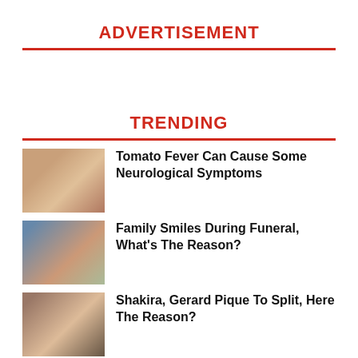ADVERTISEMENT
TRENDING
Tomato Fever Can Cause Some Neurological Symptoms
Family Smiles During Funeral, What’s The Reason?
Shakira, Gerard Pique To Split, Here The Reason?